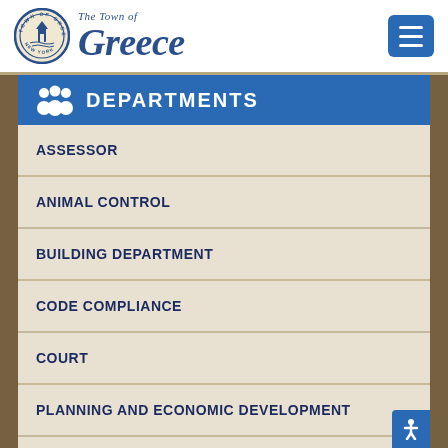The Town of Greece
DEPARTMENTS
ASSESSOR
ANIMAL CONTROL
BUILDING DEPARTMENT
CODE COMPLIANCE
COURT
PLANNING AND ECONOMIC DEVELOPMENT
FIRE MARSHAL